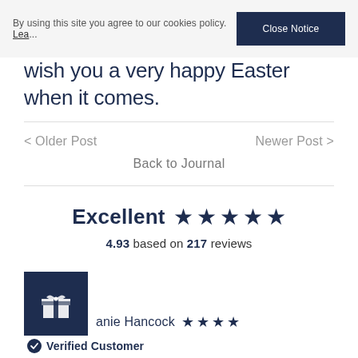By using this site you agree to our cookies policy. Lea...
Close Notice
wish you a very happy Easter when it comes.
< Older Post
Newer Post >
Back to Journal
Excellent ★★★★★
4.93 based on 217 reviews
anie Hancock ★★★★
Verified Customer